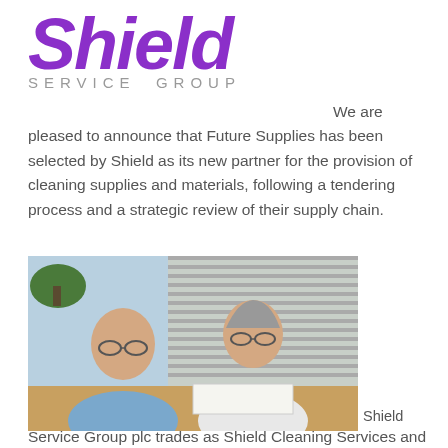[Figure (logo): Shield Service Group logo — 'Shield' in large purple italic bold text, 'SERVICE GROUP' in grey spaced caps below]
We are pleased to announce that Future Supplies has been selected by Shield as its new partner for the provision of cleaning supplies and materials, following a tendering process and a strategic review of their supply chain.
[Figure (photo): Two men sitting at a desk, smiling, in an office with blinds in the background. Both wearing light shirts. One man holds a phone, the other is writing in a document.]
Shield Service Group plc trades as Shield Cleaning Services and